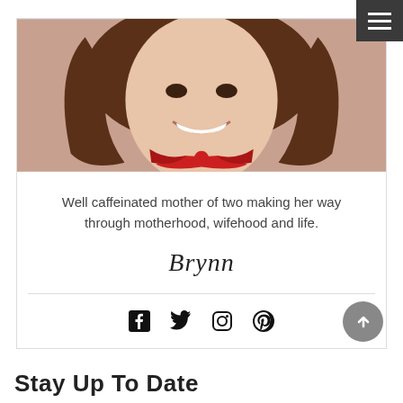[Figure (photo): Close-up photo of a smiling woman with brown hair and a red bow/accessory at her neck, wearing a light-colored top]
Well caffeinated mother of two making her way through motherhood, wifehood and life.
[Figure (illustration): Cursive script signature reading 'Brynn']
[Figure (infographic): Social media icons: Facebook, Twitter, Instagram, Pinterest]
Stay Up To Date